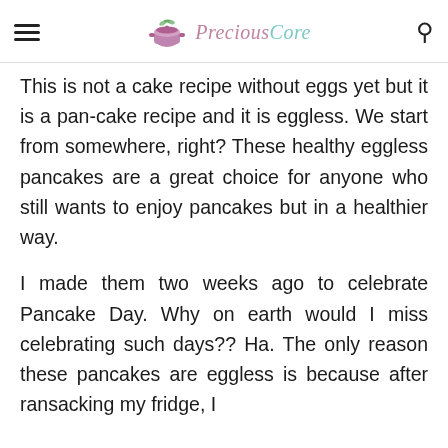Precious Core — navigation header with hamburger menu and search icon
This is not a cake recipe without eggs yet but it is a pan-cake recipe and it is eggless. We start from somewhere, right? These healthy eggless pancakes are a great choice for anyone who still wants to enjoy pancakes but in a healthier way.
I made them two weeks ago to celebrate Pancake Day. Why on earth would I miss celebrating such days?? Ha. The only reason these pancakes are eggless is because after ransacking my fridge, I